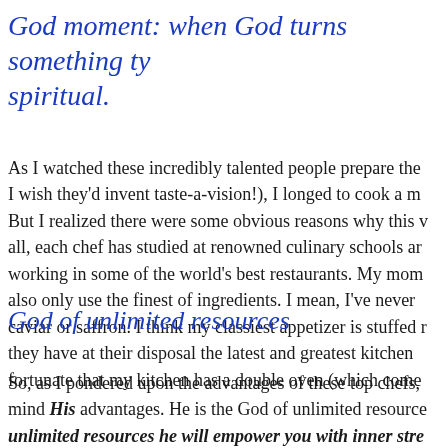God moment: when God turns something typical into something spiritual.
As I watched these incredibly talented people prepare the (I wish they'd invent taste-a-vision!), I longed to cook a m But I realized there were some obvious reasons why this w all, each chef has studied at renowned culinary schools an working in some of the world's best restaurants. My mom also only use the finest of ingredients. I mean, I've never caviar or saffron. I think my classiest appetizer is stuffed m they have at their disposal the latest and greatest kitchen fortunate that my kitchen has a double oven (which come
God of unlimited resources
So, as I pondered upon the advantages of these top chefs, mind His advantages. He is the God of unlimited resource unlimited resources he will empower you with inner stre